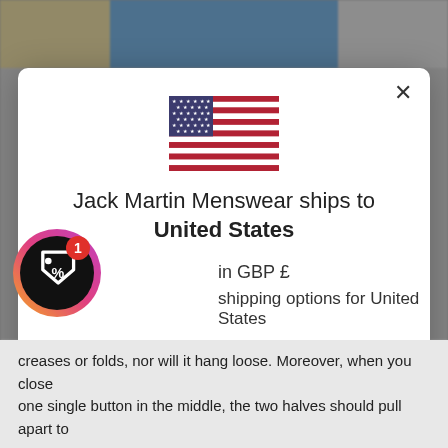[Figure (screenshot): Background page showing product images at top and text at bottom, partially obscured by modal overlay]
[Figure (illustration): Modal dialog with US flag, shipping info for United States in GBP, SHOP NOW button, and CHANGE SHIPPING COUNTRY link]
Jack Martin Menswear ships to United States
in GBP £
shipping options for United States
SHOP NOW
CHANGE SHIPPING CO
Chat with us
creases or folds, nor will it hang loose. Moreover, when you close one single button in the middle, the two halves should pull apart to